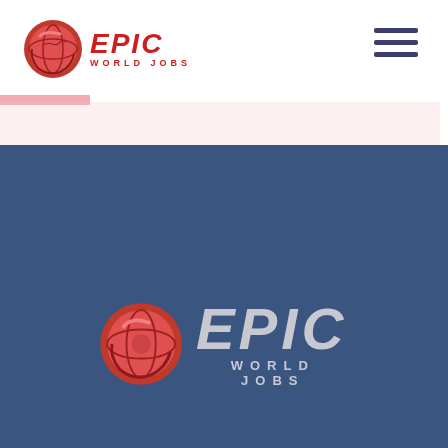[Figure (logo): Epic World Jobs logo in header - red globe icon with EPIC text in red italic and WORLD JOBS in small red caps]
[Figure (logo): Epic World Jobs footer logo - large red globe icon with EPIC in light gray italic large text and WORLD JOBS in light gray caps below]
Epic World Jobs ®
Lisnaneese
Letterkenny, Co. Donegal
Republic of Ireland
+353 87 091 6426
info@epicworldjobs.com